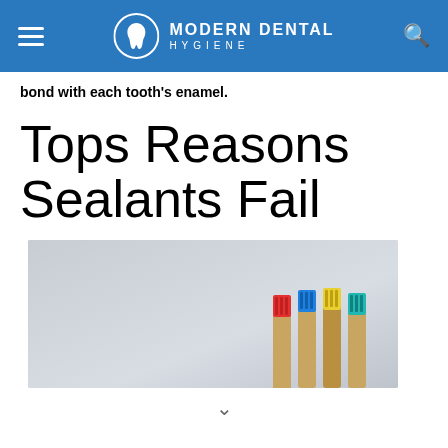MODERN DENTAL HYGIENE
bond with each tooth's enamel.
Tops Reasons Sealants Fail
[Figure (photo): Four colorful toothbrushes (red, blue, yellow, teal) with wooden handles standing upright against a light gray background]